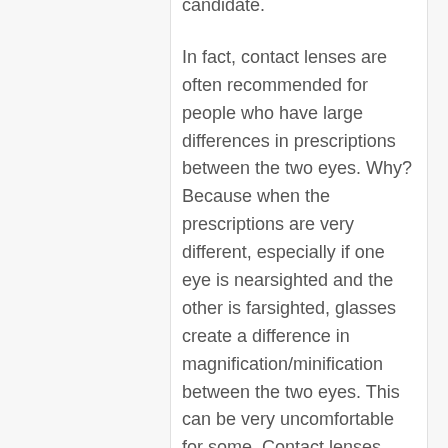candidate.
In fact, contact lenses are often recommended for people who have large differences in prescriptions between the two eyes. Why? Because when the prescriptions are very different, especially if one eye is nearsighted and the other is farsighted, glasses create a difference in magnification/minification between the two eyes. This can be very uncomfortable for some. Contact lenses don't create this problem at all (is has to do with how close they are to your eyes).
And finally, the people who tend to succeed with contact lenses the most,